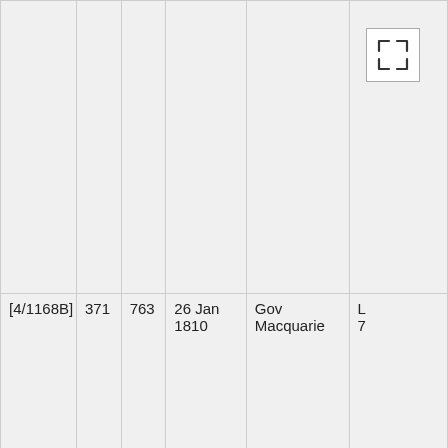|  |  |  |  |  |  |
| [4/1168B] | 371 | 763 | 26 Jan 1810 | Gov Macquarie | L 7 |